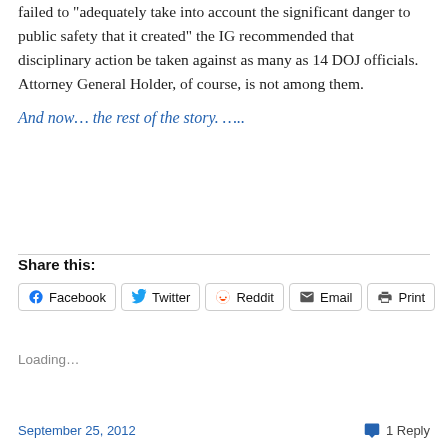Labeling Operation Fast and Furious "a risky strategy" that failed to "adequately take into account the significant danger to public safety that it created" the IG recommended that disciplinary action be taken against as many as 14 DOJ officials. Attorney General Holder, of course, is not among them.
And now... the rest of the story. .....
Share this:
Loading...
September 25, 2012   1 Reply